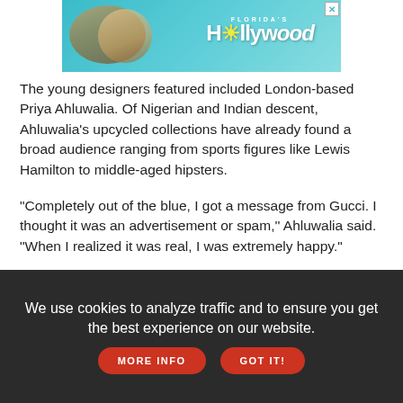[Figure (photo): Florida's Hollywood advertisement banner with two women and teal/aqua background]
The young designers featured included London-based Priya Ahluwalia. Of Nigerian and Indian descent, Ahluwalia's upcycled collections have already found a broad audience ranging from sports figures like Lewis Hamilton to middle-aged hipsters.
"Completely out of the blue, I got a message from Gucci. I thought it was an advertisement or spam,'' Ahluwalia said. "When I realized it was real, I was extremely happy."
[Figure (photo): CELEBRATE SMALL TOWN, BIG PRIDE ON THE BURLINGTON WATERFRONT advertisement with sunset sky background]
We use cookies to analyze traffic and to ensure you get the best experience on our website. MORE INFO GOT IT!